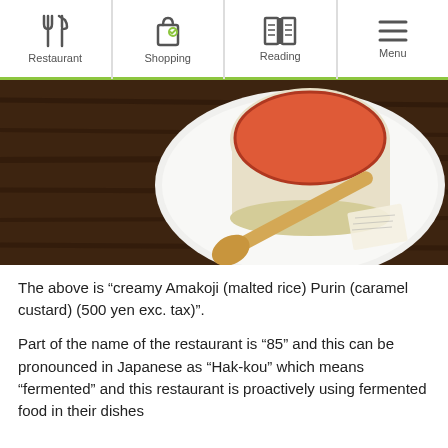Restaurant | Shopping | Reading | Menu
[Figure (photo): A glass cup of creamy dessert (purin/caramel custard) with a reddish-orange top layer, served on a white plate with a wooden spoon, on a dark wooden table.]
The above is “creamy Amakoji (malted rice) Purin (caramel custard) (500 yen exc. tax)”.
Part of the name of the restaurant is “85” and this can be pronounced in Japanese as “Hak-kou” which means “fermented” and this restaurant is proactively using fermented food in their dishes